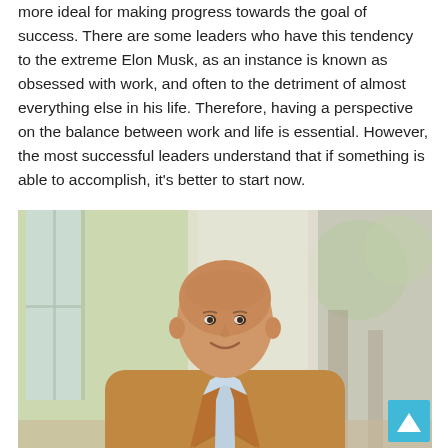more ideal for making progress towards the goal of success. There are some leaders who have this tendency to the extreme Elon Musk, as an instance is known as obsessed with work, and often to the detriment of almost everything else in his life. Therefore, having a perspective on the balance between work and life is essential. However, the most successful leaders understand that if something is able to accomplish, it's better to start now.
[Figure (photo): A middle-aged bald man in a tan/camel blazer and light blue shirt, smiling at the camera, seated at what appears to be a bright indoor setting with windows and greenery visible in the background.]